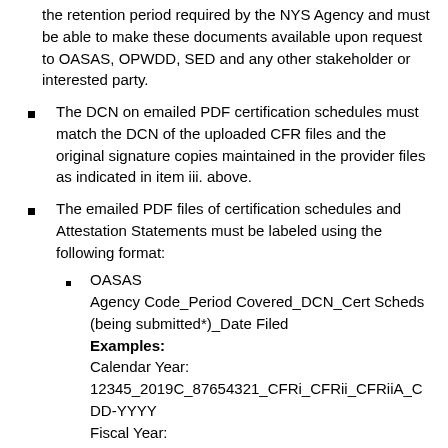the retention period required by the NYS Agency and must be able to make these documents available upon request to OASAS, OPWDD, SED and any other stakeholder or interested party.
The DCN on emailed PDF certification schedules must match the DCN of the uploaded CFR files and the original signature copies maintained in the provider files as indicated in item iii. above.
The emailed PDF files of certification schedules and Attestation Statements must be labeled using the following format:
OASAS Agency Code_Period Covered_DCN_Cert Scheds (being submitted*)_Date Filed Examples: Calendar Year: 12345_2019C_87654321_CFRi_CFRii_CFRiiA_C DD-YYYY Fiscal Year: 54321_18-